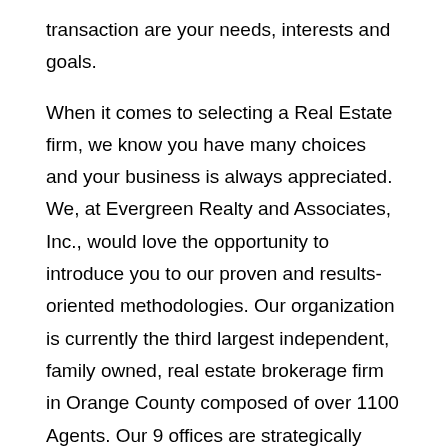transaction are your needs, interests and goals.
When it comes to selecting a Real Estate firm, we know you have many choices and your business is always appreciated.  We, at Evergreen Realty and Associates, Inc., would love the opportunity to introduce you to our proven and results-oriented methodologies. Our organization is currently the third largest independent, family owned, real estate brokerage firm in Orange County composed of over 1100 Agents. Our 9 offices are strategically located throughout Southern California. You'll find our corporate office located in Irvine, right in the heart of Orange County.
As one of the fastest growing brokerages in California; we are uniquely qualified and positioned to offer you maximum value, as your exclusive representative, in a Real Estate transaction. As pacesetters in the Industry, many of our Brokers and Agents hold highly coveted designations obtained through advanced